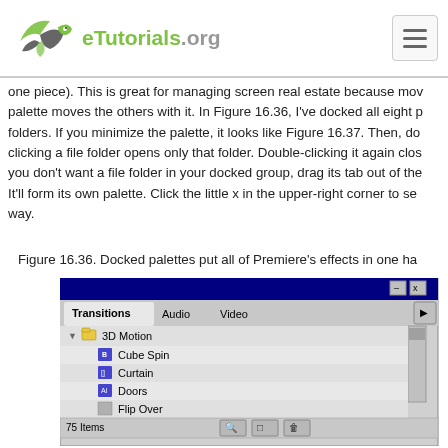eTutorials.org
one piece). This is great for managing screen real estate because moving one palette moves the others with it. In Figure 16.36, I've docked all eight palettes in folders. If you minimize the palette, it looks like Figure 16.37. Then, double-clicking a file folder opens only that folder. Double-clicking it again closes it. If you don't want a file folder in your docked group, drag its tab out of the docked group. It'll form its own palette. Click the little x in the upper-right corner to send it on its way.
Figure 16.36. Docked palettes put all of Premiere's effects in one ha
[Figure (screenshot): Screenshot of Adobe Premiere docked palettes dialog showing Transitions, Audio, Video tabs with 3D Motion folder containing Cube Spin, Curtain, Doors, Flip Over items, and Commands/Effect Controls panel below showing Moving Matte.bmp @ 00;00;00;00 with Motion Setup option.]